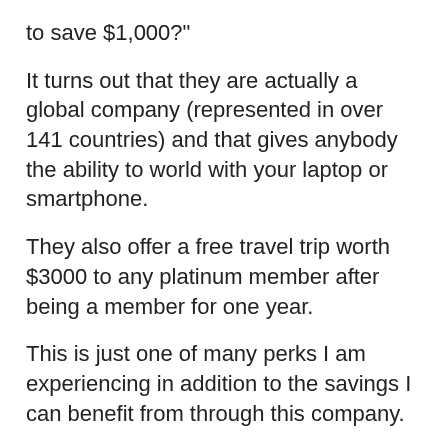to save $1,000?"
It turns out that they are actually a global company (represented in over 141 countries) and that gives anybody the ability to world with your laptop or smartphone.
They also offer a free travel trip worth $3000 to any platinum member after being a member for one year.
This is just one of many perks I am experiencing in addition to the savings I can benefit from through this company.
It's one of those unique opportunities where you can SAVE money and EARN money at the